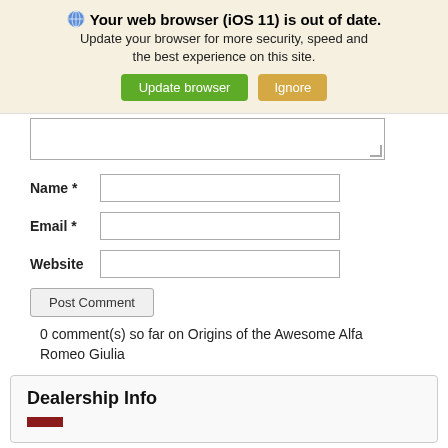[Figure (screenshot): Browser update notification banner with globe icon, bold title 'Your web browser (iOS 11) is out of date.', subtitle text, and two buttons: 'Update browser' (green) and 'Ignore' (tan/gold)]
Name *
Email *
Website
Post Comment
0 comment(s) so far on Origins of the Awesome Alfa Romeo Giulia
Dealership Info